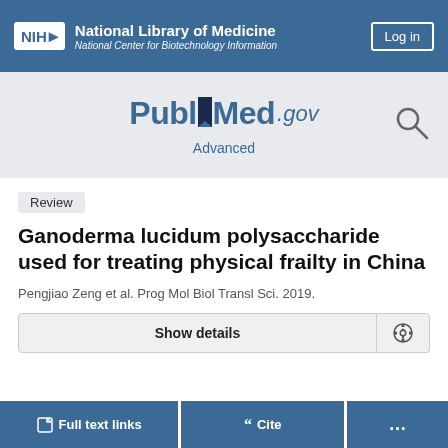NIH National Library of Medicine National Center for Biotechnology Information
[Figure (logo): PubMed.gov logo with search icon and Advanced link]
Review
Ganoderma lucidum polysaccharide used for treating physical frailty in China
Pengjiao Zeng et al. Prog Mol Biol Transl Sci. 2019.
Show details
Full text links | Cite | ...